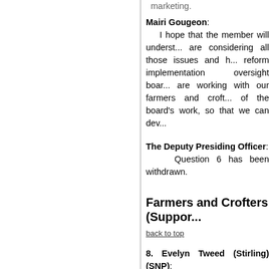marketing.
Mairi Gougeon: I hope that the member will understand that we are considering all those issues and how the reform implementation oversight board members are working with our farmers and crofters as part of the board's work, so that we can dev...
The Deputy Presiding Officer: Question 6 has been withdrawn.
Farmers and Crofters (Suppor...
back to top
8. Evelyn Tweed (Stirling) (SNP): To ask the Scottish Government through this year's national basic pa...
The Cabinet Secretary for Rural Affairs a... Scottish farmers and crofters a... committed to supporting them and, advance loan payments to maintain ca... that Brexit presents.
We started making payments in Se...